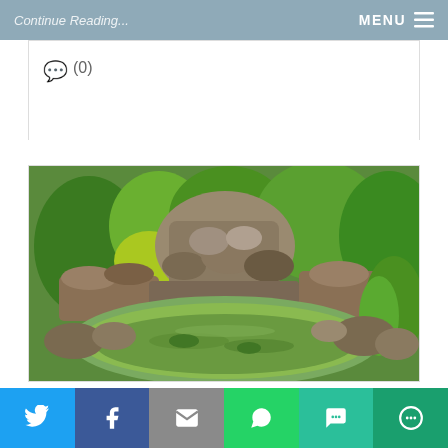Continue Reading...  MENU
(0)
[Figure (photo): Garden water feature with natural stone pond, waterfall, and surrounding lush green plants and shrubs]
INCREASING PROPERTY
Twitter | Facebook | Email | WhatsApp | SMS | More